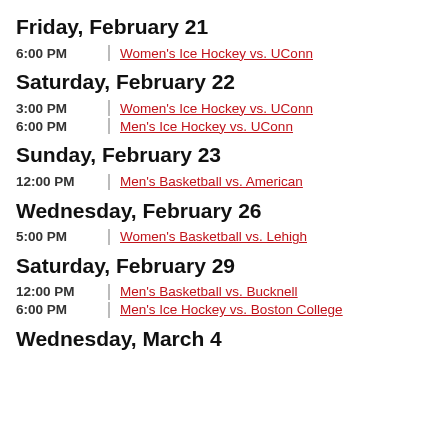Friday, February 21
6:00 PM | Women's Ice Hockey vs. UConn
Saturday, February 22
3:00 PM | Women's Ice Hockey vs. UConn
6:00 PM | Men's Ice Hockey vs. UConn
Sunday, February 23
12:00 PM | Men's Basketball vs. American
Wednesday, February 26
5:00 PM | Women's Basketball vs. Lehigh
Saturday, February 29
12:00 PM | Men's Basketball vs. Bucknell
6:00 PM | Men's Ice Hockey vs. Boston College
Wednesday, March 4